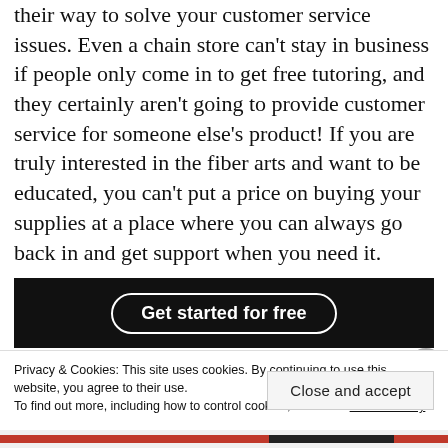their way to solve your customer service issues. Even a chain store can't stay in business if people only come in to get free tutoring, and they certainly aren't going to provide customer service for someone else's product! If you are truly interested in the fiber arts and want to be educated, you can't put a price on buying your supplies at a place where you can always go back in and get support when you need it.
[Figure (other): Black banner with 'Get started for free' button in white text with rounded border]
Privacy & Cookies: This site uses cookies. By continuing to use this website, you agree to their use.
To find out more, including how to control cookies, see here: Cookie Policy
Close and accept